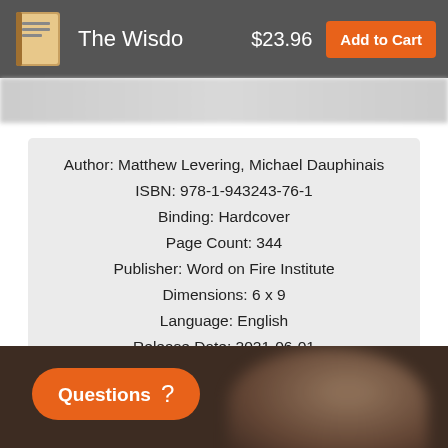The Wisdo  $23.96  Add to Cart
| Author: | Matthew Levering, Michael Dauphinais |
| ISBN: | 978-1-943243-76-1 |
| Binding: | Hardcover |
| Page Count: | 344 |
| Publisher: | Word on Fire Institute |
| Dimensions: | 6 x 9 |
| Language: | English |
| Release Date: | 2021-06-01 |
[Figure (photo): Bottom section showing a blurred photo of a person with an orange 'Questions ?' button overlay]